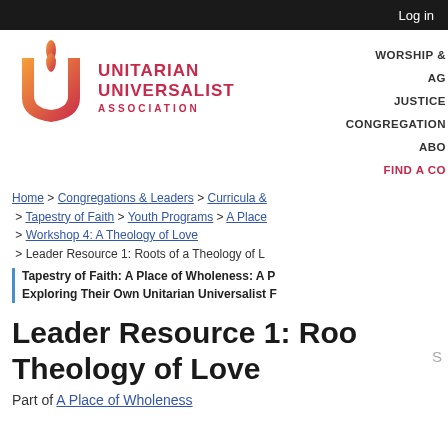Log in
[Figure (logo): Unitarian Universalist Association logo — flame icon in red-orange gradient with stylized U shape, next to text UNITARIAN UNIVERSALIST ASSOCIATION in red]
WORSHIP & | AG | JUSTICE | CONGREGATION | ABO | FIND A CO
Home > Congregations & Leaders > Curricula & > Tapestry of Faith > Youth Programs > A Place > Workshop 4: A Theology of Love > Leader Resource 1: Roots of a Theology of L
Tapestry of Faith: A Place of Wholeness: A P Exploring Their Own Unitarian Universalist F
Leader Resource 1: Roo Theology of Love
Part of A Place of Wholeness